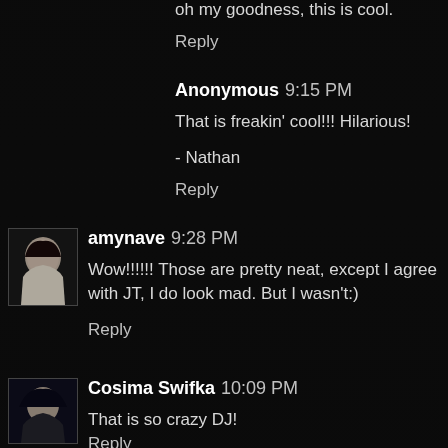oh my goodness, this is cool.
Reply
Anonymous  9:15 PM
That is freakin' cool!!! Hilarious!
- Nathan
Reply
[Figure (photo): Avatar photo of amynave - woman with dark hair]
amynave  9:28 PM
Wow!!!!!! Those are pretty neat, except I agree with JT, I do look mad. But I wasn't:)
Reply
[Figure (photo): Avatar photo of Cosima Swifka]
Cosima Swifka  10:09 PM
That is so crazy DJ!
Reply